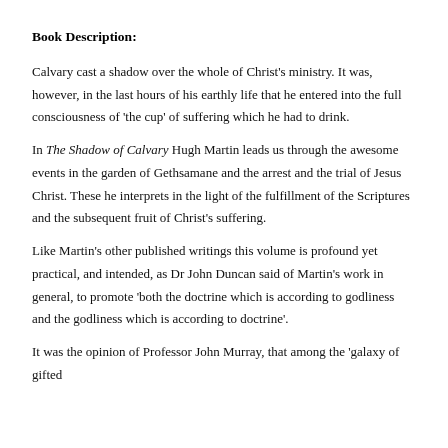Book Description:
Calvary cast a shadow over the whole of Christ's ministry. It was, however, in the last hours of his earthly life that he entered into the full consciousness of 'the cup' of suffering which he had to drink.
In The Shadow of Calvary Hugh Martin leads us through the awesome events in the garden of Gethsamane and the arrest and the trial of Jesus Christ. These he interprets in the light of the fulfillment of the Scriptures and the subsequent fruit of Christ's suffering.
Like Martin's other published writings this volume is profound yet practical, and intended, as Dr John Duncan said of Martin's work in general, to promote 'both the doctrine which is according to godliness and the godliness which is according to doctrine'.
It was the opinion of Professor John Murray, that among the 'galaxy of gifted